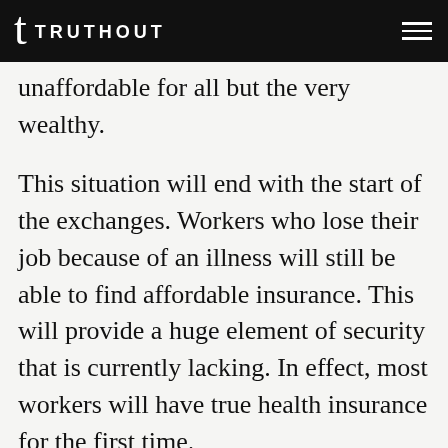TRUTHOUT
unaffordable for all but the very wealthy.
This situation will end with the start of the exchanges. Workers who lose their job because of an illness will still be able to find affordable insurance. This will provide a huge element of security that is currently lacking. In effect, most workers will have true health insurance for the first time.
Workers of all ages will benefit from this transformation of the insurance market but it will be especially important for older workers